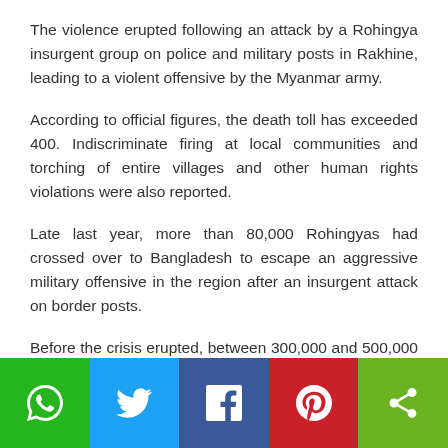The violence erupted following an attack by a Rohingya insurgent group on police and military posts in Rakhine, leading to a violent offensive by the Myanmar army.
According to official figures, the death toll has exceeded 400. Indiscriminate firing at local communities and torching of entire villages and other human rights violations were also reported.
Late last year, more than 80,000 Rohingyas had crossed over to Bangladesh to escape an aggressive military offensive in the region after an insurgent attack on border posts.
Before the crisis erupted, between 300,000 and 500,000 Rohingyas have been living in Bangladesh, out of whom only 32,000 enjoyed refugee status.
[Figure (infographic): Social sharing bar with five buttons: WhatsApp (green), Twitter (blue), Facebook (dark blue), Pinterest (red), Share/generic (light green). Each button shows a white icon.]